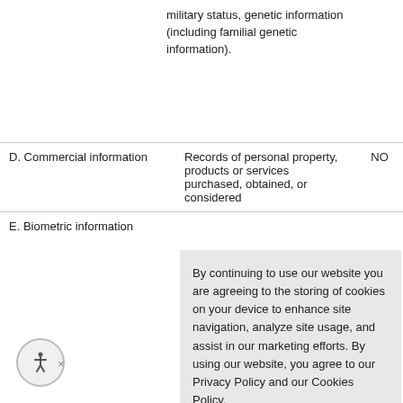military status, genetic information (including familial genetic information).
| Category | Description | Collected |
| --- | --- | --- |
| D. Commercial information | Records of personal property, products or services purchased, obtained, or considered | NO |
| E. Biometric information |  |  |
By continuing to use our website you are agreeing to the storing of cookies on your device to enhance site navigation, analyze site usage, and assist in our marketing efforts. By using our website, you agree to our Privacy Policy and our Cookies Policy.
I agree